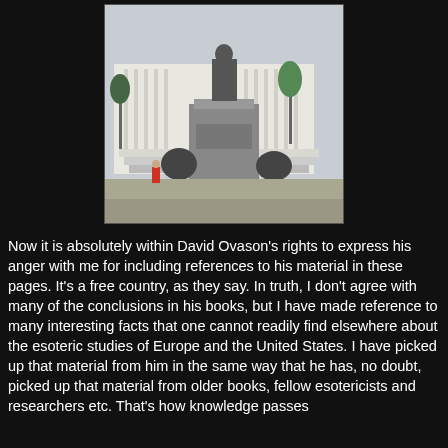[Figure (photo): A statue monument with a standing figure on a tall pedestal, with seated figures at the base, in front of what appears to be the US Capitol building. A person in a red jacket is visible walking in the background.]
Now it is absolutely within David Ovason's rights to express his anger with me for including references to his material in these pages.  It's a free country, as they say.  In truth, I don't agree with many of the conclusions in his books, but I have made reference to many interesting facts that one cannot readily find elsewhere about the esoteric studies of Europe and the United States.  I have picked up that material from him in the same way that he has, no doubt,  picked up that material from older books, fellow esotericists and researchers etc.  That's how knowledge passes